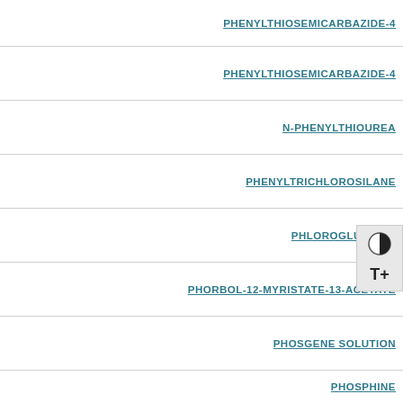PHENYLTHIOSEMICARBAZIDE-4
N-PHENYLTHIOUREA
PHENYLTRICHLOROSILANE
PHLOROGLUCINOL
PHORBOL-12-MYRISTATE-13-ACETATE
PHOSGENE SOLUTION
PHOSPHINE